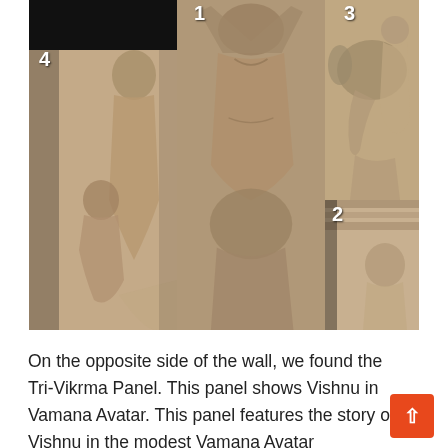[Figure (photo): Composite of four numbered photographs showing stone relief carvings from a temple wall, depicting figures from the Tri-Vikrama / Vamana Avatar panel. Numbered 1-4: 1 = central scene, 2 = lower right detail, 3 = upper right with elephant, 4 = left panel with standing figures. Carvings in beige/sandstone tones against black background.]
On the opposite side of the wall, we found the Tri-Vikrma Panel. This panel shows Vishnu in Vamana Avatar. This panel features the story of Vishnu in the modest Vamana Avatar.